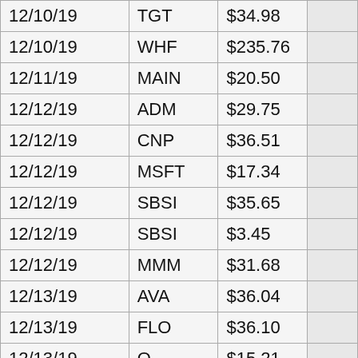| Date | Ticker | Price |  |
| --- | --- | --- | --- |
| 12/10/19 | TGT | $34.98 |  |
| 12/10/19 | WHF | $235.76 |  |
| 12/11/19 | MAIN | $20.50 |  |
| 12/12/19 | ADM | $29.75 |  |
| 12/12/19 | CNP | $36.51 |  |
| 12/12/19 | MSFT | $17.34 |  |
| 12/12/19 | SBSI | $35.65 |  |
| 12/12/19 | SBSI | $3.45 |  |
| 12/12/19 | MMM | $31.68 |  |
| 12/13/19 | AVA | $36.04 |  |
| 12/13/19 | FLO | $36.10 |  |
| 12/13/19 | O | $15.21 |  |
| 12/13/19 | TSN | $11.34 |  |
| 12/16/19 | APLE | $40.90 |  |
| 12/16/19 | KO | $37.20 |  |
| 12/16/19 | MCD | $37.50 |  |
| 12/16/19 | ORI | $42.20 |  |
| 12/16/19 | GM | $43.56 |  |